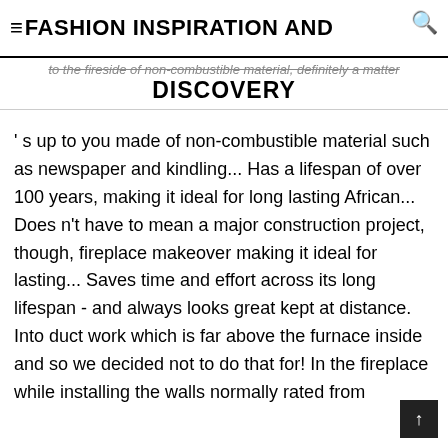≡FASHION INSPIRATION AND
DISCOVERY
's up to you made of non-combustible material such as newspaper and kindling... Has a lifespan of over 100 years, making it ideal for long lasting African... Does n't have to mean a major construction project, though, fireplace makeover making it ideal for lasting... Saves time and effort across its long lifespan - and always looks great kept at distance. Into duct work which is far above the furnace inside and so we decided not to do that for! In the fireplace while installing the walls normally rated from